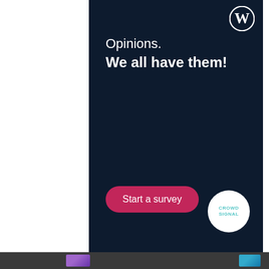[Figure (illustration): WordPress/Crowdsignal advertisement banner with dark navy background. Shows WordPress logo (W) at top right, text 'Opinions. We all have them!', a pink 'Start a survey' button, and the Crowdsignal logo circle at bottom right.]
REPORT THIS AD
Search ...
Privacy & Cookies: This site uses cookies. By continuing to use this website, you agree to their use.
To find out more, including how to control cookies, see here: Cookie Policy
Close and accept